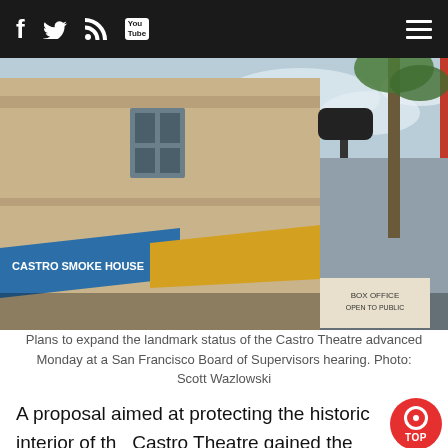Navigation bar with social icons: Facebook, Twitter, RSS, YouTube, and hamburger menu
[Figure (photo): Street-level photograph of Castro Theatre marquee sign reading 'CASTRO' in large red lettering with a rainbow pride banner visible on a street lamp. Castro Smoke House awning visible at lower left. Cloudy sky background with palm tree.]
Plans to expand the landmark status of the Castro Theatre advanced Monday at a San Francisco Board of Supervisors hearing. Photo: Scott Wazlowski
A proposal aimed at protecting the historic interior of the Castro Theatre gained the backing of a San Francisco supervisors' committee Monday, while a separate effort to